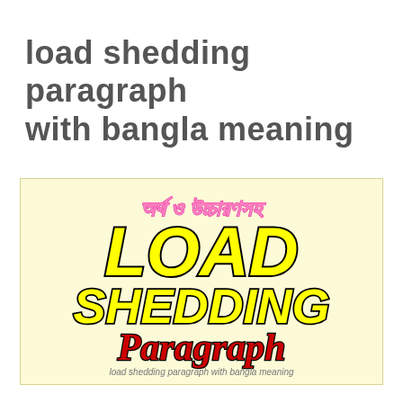load shedding paragraph with bangla meaning
[Figure (illustration): Decorative image with light yellow background showing Bangla text meaning 'with meaning and pronunciation', then large yellow bold italic text 'LOAD SHEDDING' with black outline, then red bold italic 'Paragraph', and a caption 'load shedding paragraph with bangla meaning' at the bottom.]